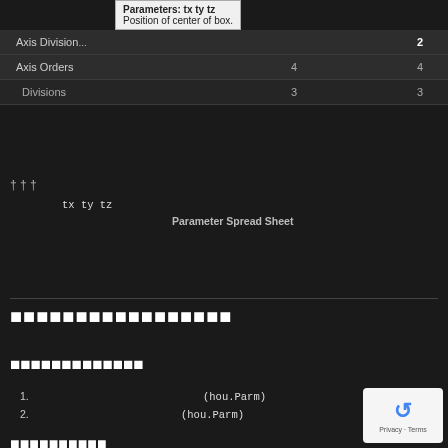[Figure (screenshot): Screenshot of a UI table with tooltip showing 'Parameters: tx ty tz / Position of center of box.' The table rows show: Axis Divisions (value 2), Axis Orders (value 4), Divisions (value 3). A tooltip overlay is visible.]
†††
　　　　　tx ty tz　[Thai text - footnote about parameters and Parameter Spread Sheet]
[Additional Thai text continues]
1. 　　　　　　　　　　　　　(hou.Parm)
2. 　　　　　　　　　　　(hou.Parm)